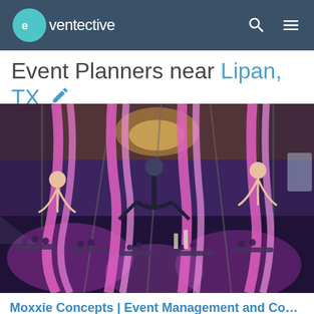eventective
Event Planners near Lipan, TX
[Figure (photo): Aerial acrobats performing on pink silk ribbons in a large event ballroom with purple lighting and guests seated at tables below.]
Moxxie Concepts | Event Management and Consu...
44 miles from Lipan, TX
Request Pricing